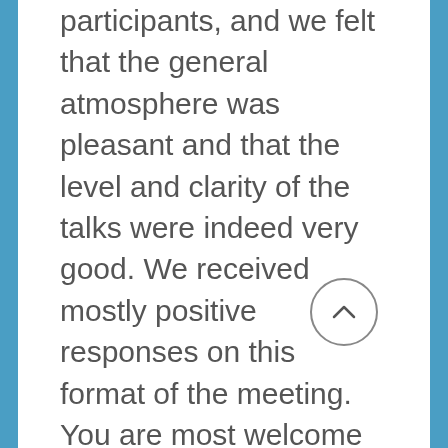participants, and we felt that the general atmosphere was pleasant and that the level and clarity of the talks were indeed very good. We received mostly positive responses on this format of the meeting. You are most welcome to send us your impressions and suggestions. We plan to continue with a similar format next year. We do hope to enhance the poster session; we think it is a good opportunity for graduate students to present their work.